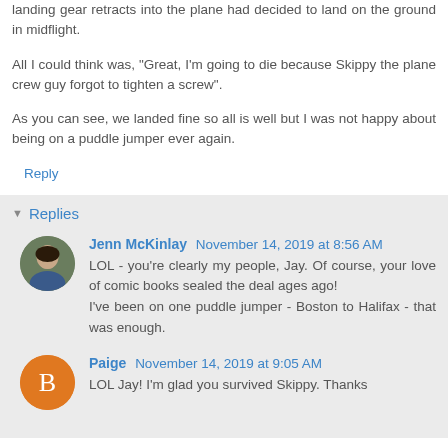landing gear retracts into the plane had decided to land on the ground in midflight.
All I could think was, "Great, I'm going to die because Skippy the plane crew guy forgot to tighten a screw".
As you can see, we landed fine so all is well but I was not happy about being on a puddle jumper ever again.
Reply
Replies
Jenn McKinlay November 14, 2019 at 8:56 AM
LOL - you're clearly my people, Jay. Of course, your love of comic books sealed the deal ages ago!
I've been on one puddle jumper - Boston to Halifax - that was enough.
Paige November 14, 2019 at 9:05 AM
LOL Jay! I'm glad you survived Skippy. Thanks